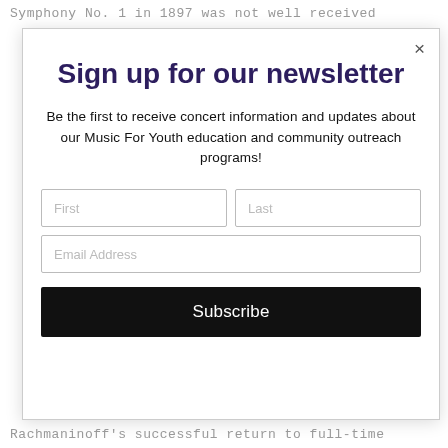Symphony No. 1 in 1897 was not well received
Sign up for our newsletter
Be the first to receive concert information and updates about our Music For Youth education and community outreach programs!
First
Last
Email Address
Subscribe
Rachmaninoff's successful return to full-time